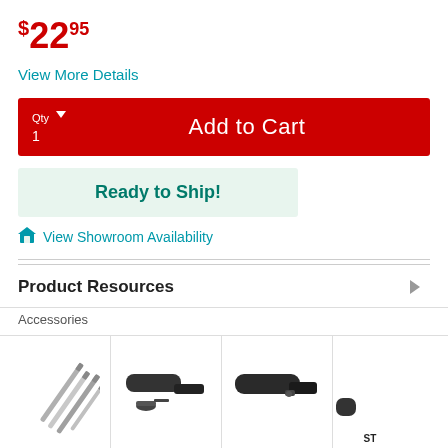$22.95
View More Details
Add to Cart
Ready to Ship!
View Showroom Availability
Product Resources
Accessories
[Figure (photo): 4 PC. HSS SOCKET - set of four metal socket tools/rods]
4 PC. HSS SOCKET
[Figure (photo): LEFT TURNING - a left turning tool with handle]
LEFT TURNING
[Figure (photo): LEFT TURNING - another left turning tool variant]
LEFT TURNING
[Figure (photo): ST - partially visible product]